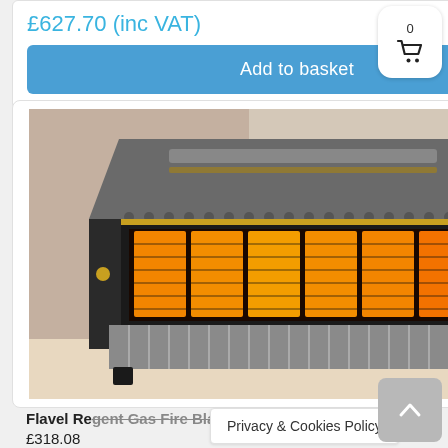£627.70 (inc VAT)
Add to basket
[Figure (photo): Flavel Regent gas fire in black finish with glowing orange elements, shown in a living room setting with a plant beside it.]
Flavel Regent Gas Fire Black
£318.08
Privacy & Cookies Policy